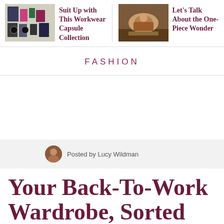[Figure (photo): Thumbnail image of workwear capsule collection with various clothing items laid out]
Suit Up with This Workwear Capsule Collection
[Figure (photo): Thumbnail image of a woman in a one-piece outfit lying on a wooden floor]
Let's Talk About the One-Piece Wonder
FASHION
Posted by Lucy Wildman
Your Back-To-Work Wardrobe, Sorted